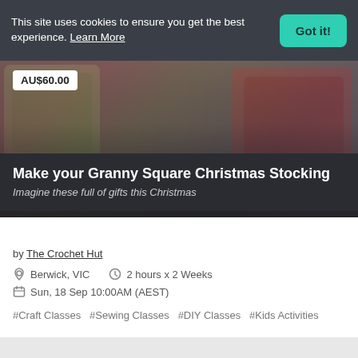This site uses cookies to ensure you get the best experience. Learn More
Got it!
AU$60.00
Make your Granny Square Christmas Stocking
Imagine these full of gifts this Christmas
by The Crochet Hut
Berwick, VIC   2 hours x 2 Weeks
Sun, 18 Sep 10:00AM (AEST)
#Craft Classes  #Sewing Classes  #DIY Classes  #Kids Activities